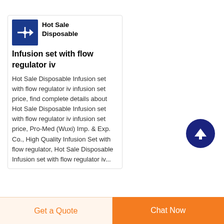[Figure (logo): Blue square logo with white airplane/cross symbol, company branding for Pro-Med]
Hot Sale Disposable Infusion set with flow regulator iv
Hot Sale Disposable Infusion set with flow regulator iv infusion set price, find complete details about Hot Sale Disposable Infusion set with flow regulator iv infusion set price, Pro-Med (Wuxi) Imp. & Exp. Co., High Quality Infusion Set with flow regulator, Hot Sale Disposable Infusion set with flow regulator iv...
[Figure (other): Dark blue circular scroll-to-top button with white upward arrow]
Get a Quote
Chat Now